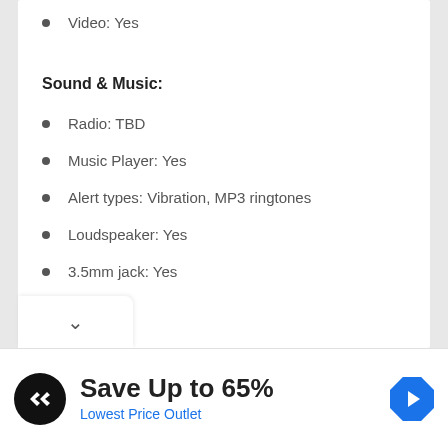Video: Yes
Sound & Music:
Radio: TBD
Music Player: Yes
Alert types: Vibration, MP3 ringtones
Loudspeaker: Yes
3.5mm jack: Yes
Save Up to 65%